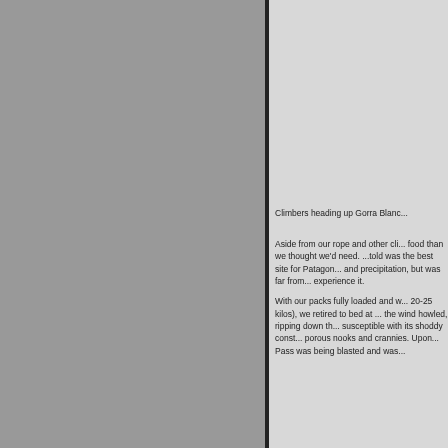[Figure (photo): Large photograph of climbers heading up Gorra Blanca, spanning the left portion of the page with a dark vertical border on the right side]
Climbers heading up Gorra Blanc...
Aside from our rope and other cli... food than we thought we'd need. ...told was the best site for Patagon... and precipitation, but was far fro... experience it.
With our packs fully loaded and w... 20-25 kilos), we retired to bed at ... the wind howled, ripping down th... susceptible with its shoddy const... porous nooks and crannies. Upo... Pass was being blasted and was...